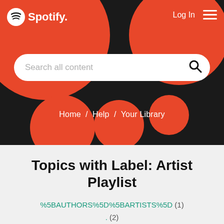[Figure (screenshot): Spotify website header with black background, red decorative circles, Spotify logo, Log In link, hamburger menu, and search bar with placeholder 'Search all content']
Home / Help / Your Library
Topics with Label: Artist Playlist
%5BAUTHORS%5D%5BARTISTS%5D (1)
. (2)
10000 (1)
12 (1)